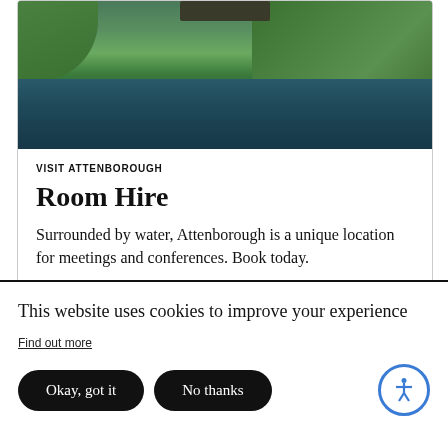[Figure (photo): Aerial or elevated view of Attenborough Nature Reserve, showing a lake/water body surrounded by lush green trees, with a wooden structure/bridge visible at the top.]
VISIT ATTENBOROUGH
Room Hire
Surrounded by water, Attenborough is a unique location for meetings and conferences. Book today.
This website uses cookies to improve your experience
Find out more
Okay, got it
No thanks